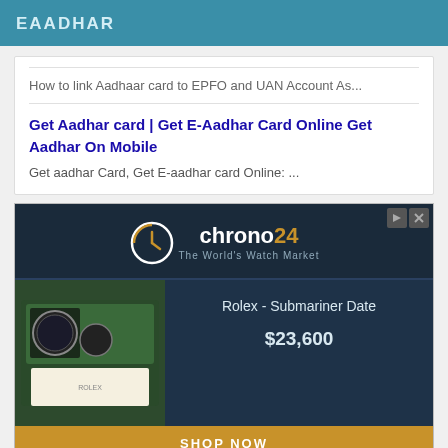EAADHAR
How to link Aadhaar card to EPFO and UAN Account As...
Get Aadhar card | Get E-Aadhar Card Online Get Aadhar On Mobile
Get aadhar Card, Get E-aadhar card Online: ...
[Figure (screenshot): Chrono24 advertisement banner showing watch marketplace. Features chrono24 logo with tagline 'The World's Watch Market', a Rolex Submariner Date watch in green box priced at $23,600 with a SHOP NOW button, and two smaller listings: TAG Heuer - Link Calibre 16 at $1,480 and Rolex - Submariner Date at $15,745.]